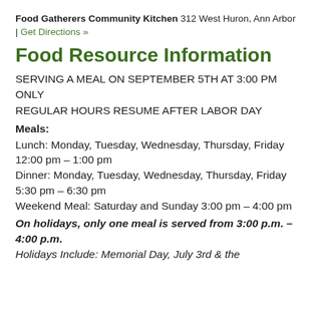Food Gatherers Community Kitchen 312 West Huron, Ann Arbor | Get Directions »
Food Resource Information
SERVING A MEAL ON SEPTEMBER 5TH AT 3:00 PM ONLY
REGULAR HOURS RESUME AFTER LABOR DAY
Meals:
Lunch: Monday, Tuesday, Wednesday, Thursday, Friday 12:00 pm – 1:00 pm
Dinner: Monday, Tuesday, Wednesday, Thursday, Friday 5:30 pm – 6:30 pm
Weekend Meal: Saturday and Sunday 3:00 pm – 4:00 pm
On holidays, only one meal is served from 3:00 p.m. – 4:00 p.m.
Holidays Include: Memorial Day, July 3rd & the